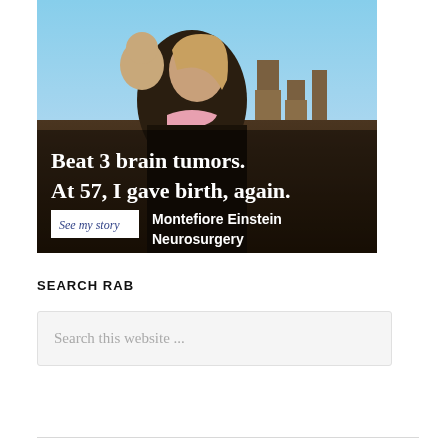[Figure (photo): Advertisement photo showing a woman holding a baby outdoors with desert rock formations in the background. Text overlay reads: 'Beat 3 brain tumors. At 57, I gave birth, again.' with a 'See my story' button and 'Montefiore Einstein Neurosurgery' branding.]
SEARCH RAB
Search this website ...